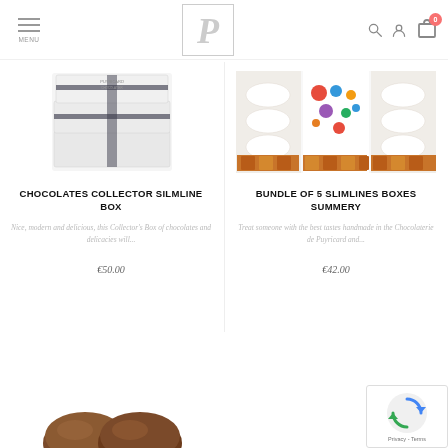MENU | Puyricard Logo | Search, User, Cart (0)
[Figure (photo): Stacked white gift boxes tied with dark ribbon - Chocolates Collector Slimline Box product image]
[Figure (photo): Assorted chocolate confections and colorful candy pieces arranged on white plates - Bundle of 5 Slimlines Boxes Summery product image]
CHOCOLATES COLLECTOR SILMLINE BOX
Nice, modern and delicious, this Collector's Box of chocolates and delicacies will...
€50.00
BUNDLE OF 5 SLIMLINES BOXES SUMMERY
Treat someone with the best tastes handmade in the Chocolaterie de Puyricard and...
€42.00
[Figure (photo): Partial view of chocolate confections - third product, partially visible at bottom]
[Figure (logo): reCAPTCHA badge with Privacy and Terms text]